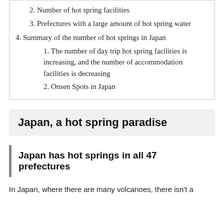2. Number of hot spring facilities
3. Prefectures with a large amount of hot spring water
4. Summary of the number of hot springs in Japan
1. The number of day trip hot spring facilities is increasing, and the number of accommodation facilities is decreasing
2. Onsen Spots in Japan
Japan, a hot spring paradise
Japan has hot springs in all 47 prefectures
In Japan, where there are many volcanoes, there isn't a